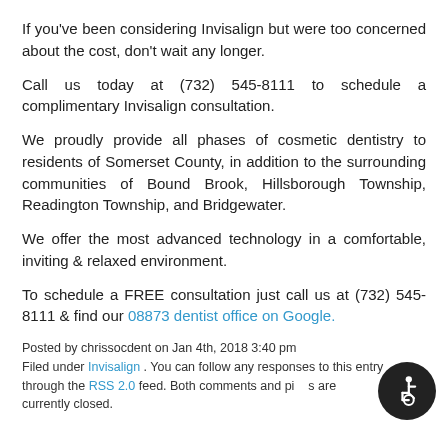If you've been considering Invisalign but were too concerned about the cost, don't wait any longer.
Call us today at (732) 545-8111 to schedule a complimentary Invisalign consultation.
We proudly provide all phases of cosmetic dentistry to residents of Somerset County, in addition to the surrounding communities of Bound Brook, Hillsborough Township, Readington Township, and Bridgewater.
We offer the most advanced technology in a comfortable, inviting & relaxed environment.
To schedule a FREE consultation just call us at (732) 545-8111 & find our 08873 dentist office on Google.
Posted by chrissocdent on Jan 4th, 2018 3:40 pm
Filed under Invisalign . You can follow any responses to this entry through the RSS 2.0 feed. Both comments and pings are currently closed.